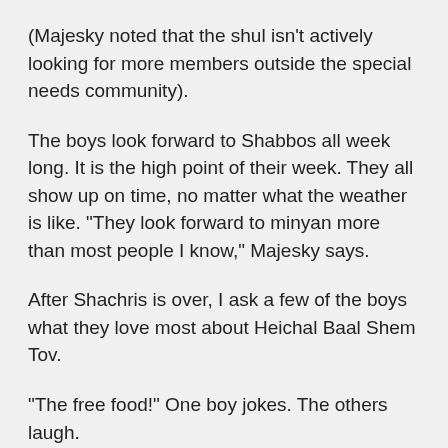(Majesky noted that the shul isn't actively looking for more members outside the special needs community).
The boys look forward to Shabbos all week long. It is the high point of their week. They all show up on time, no matter what the weather is like. “They look forward to minyan more than most people I know,” Majesky says.
After Shachris is over, I ask a few of the boys what they love most about Heichal Baal Shem Tov.
“The free food!” One boy jokes. The others laugh.
Boruch Shneur points to Berel Majesky. “I love him,” he says. The boys nod in agreement.